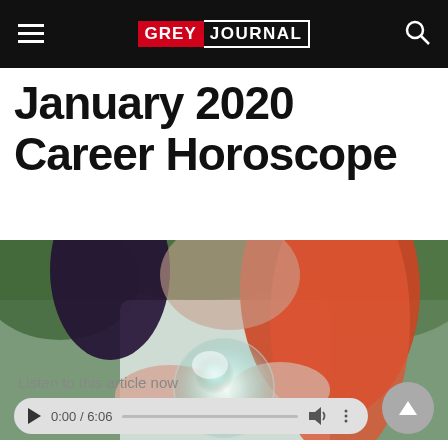Grey Journal
January 2020 Career Horoscope
[Figure (photo): Woman with red and blue hair holding a glowing crystal ball in both hands, green blurred background]
Listen to this article now
0:00 / 6:06